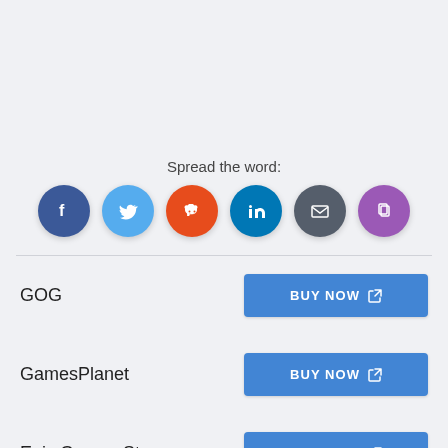Spread the word:
[Figure (infographic): Six social sharing buttons as colored circles: Facebook (dark blue), Twitter (light blue), Reddit (orange-red), LinkedIn (teal/blue), Email (dark grey), Copy (purple)]
GOG — BUY NOW
GamesPlanet — BUY NOW
Epic Games Store — BUY NOW